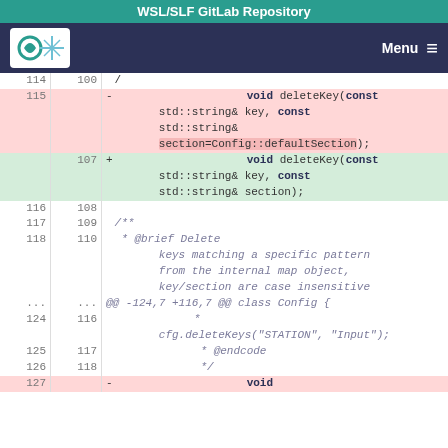WSL/SLF GitLab Repository
[Figure (screenshot): WSL/SLF logo and navigation menu bar with teal/dark-blue styling]
Code diff view showing deletion of void deleteKey(const std::string& key, const std::string& section=Config::defaultSection); at line 115, and addition at line 107 of void deleteKey(const std::string& key, const std::string& section);
Lines 116-118/108-110: blank and comment lines starting with /** * @brief Delete keys matching a specific pattern from the internal map object, key/section are case insensitive
@@ -124,7 +116,7 @@ class Config {
Lines 124/116: * cfg.deleteKeys("STATION", "Input");
Lines 125/117: * @endcode
Lines 126/118: */
Line 127: void (partial, deletion)